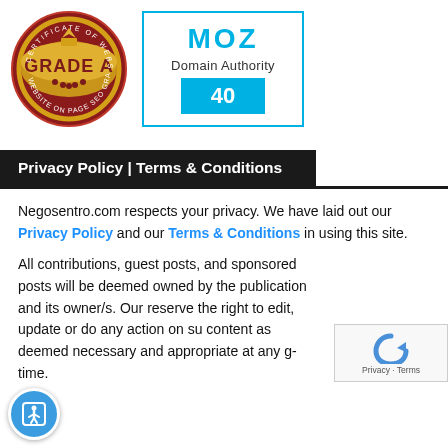[Figure (logo): Certificate of Website SEO Grade A badge — circular red and gold seal with crown and text 'GRADE A']
[Figure (logo): MOZ Domain Authority score box showing '40' on cyan background]
Privacy Policy | Terms & Conditions
Negosentro.com respects your privacy. We have laid out our Privacy Policy and our Terms & Conditions in using this site.
All contributions, guest posts, and sponsored posts will be deemed owned by the publication and its owner/s. Our reserve the right to edit, update or do any action on such content as deemed necessary and appropriate at any given time.